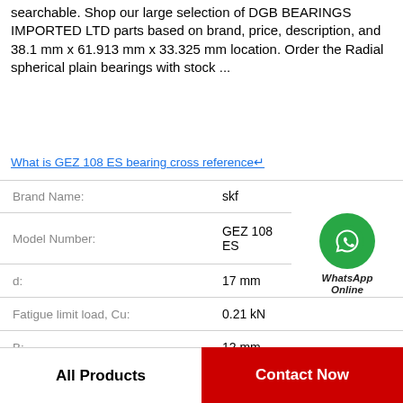searchable. Shop our large selection of DGB BEARINGS IMPORTED LTD parts based on brand, price, description, and 38.1 mm x 61.913 mm x 33.325 mm location. Order the Radial spherical plain bearings with stock ...
What is GEZ 108 ES bearing cross reference↵
| Property | Value |
| --- | --- |
| Brand Name: | skf |
| Model Number: | GEZ 108 ES |
| d: | 17 mm |
| Fatigue limit load, Cu: | 0.21 kN |
| B: | 12 mm |
| Mass: | 0.07 kg |
[Figure (logo): WhatsApp Online green circle icon with phone handset, labeled WhatsApp Online]
All Products
Contact Now